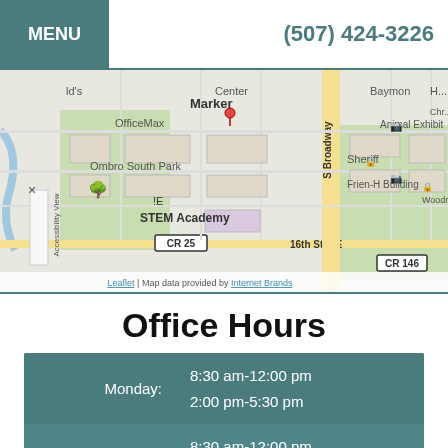MENU   (507) 424-3226
[Figure (map): Street map showing area near S Broadway, 16th St SE, CR 25, CR 146, with landmarks including OfficeMax, Baymon, Animal Exhibit, Sheriff, STEM Academy, Woodruff C, Frien-H Building, Ombro South Park. Map marker labeled 'Marker'. Attribution: Leaflet | Map data provided by Internet Brands.]
Office Hours
| Day | Hours |
| --- | --- |
| Monday: | 8:30 am-12:00 pm
2:00 pm-5:30 pm |
| Tuesday: | 8:30 am-12:00 pm
8:00 - 5:30 |